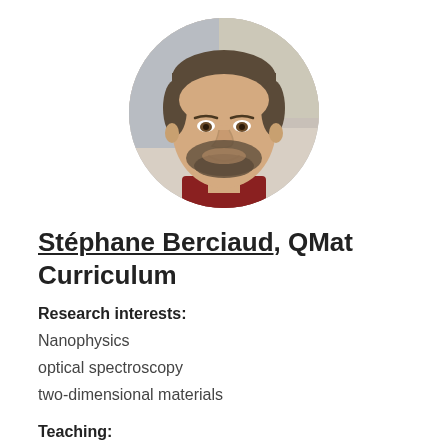[Figure (photo): Circular cropped portrait photo of a man with short dark hair and beard, wearing a dark red/maroon top, smiling slightly. Background is blurred indoor setting.]
Stéphane Berciaud, QMat Curriculum
Research interests:
Nanophysics
optical spectroscopy
two-dimensional materials
Teaching: